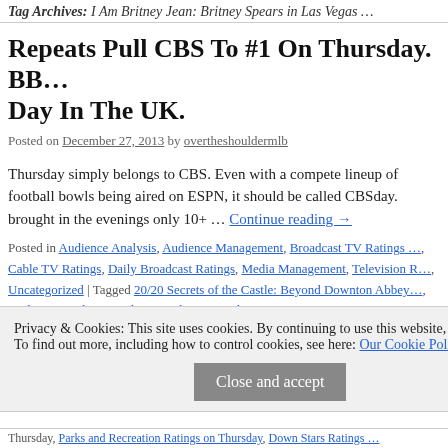Tag Archives: I Am Britney Jean: Britney Spears in Las Vegas …
Repeats Pull CBS To #1 On Thursday. BB… Day In The UK.
Posted on December 27, 2013 by overtheshouldermlb
Thursday simply belongs to CBS. Even with a compete lineup of football bowls being aired on ESPN, it should be called CBSday. brought in the evenings only 10+ … Continue reading →
Posted in Audience Analysis, Audience Management, Broadcast TV Ratings …, Cable TV Ratings, Daily Broadcast Ratings, Media Management, Television R…, Uncategorized | Tagged 20/20 Secrets of the Castle: Beyond Downton Abbey…, Audience Analysis, Audience Behavior, Audience Measurement, BBC One Ra…, Ratings on Boxing Day, Big Bang Theory Ratings on Thursday, Cars 2 Rating…, Thursday, Channel 4, Channel 4 Ratings on Boxing Day, Channel 5, Channe…
Privacy & Cookies: This site uses cookies. By continuing to use this website, you agree to their use. To find out more, including how to control cookies, see here: Our Cookie Policy
Close and accept
Thursday, Parks and Recreation Ratings on Thursday, Down Stars Ratings …